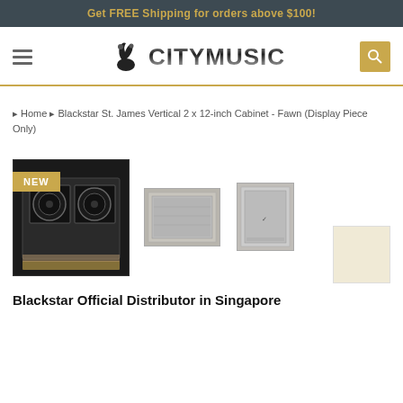Get FREE Shipping for orders above $100!
[Figure (logo): CityMusic logo with stylized musical instrument icon and metallic CITYMUSIC text]
Home › Blackstar St. James Vertical 2 x 12-inch Cabinet - Fawn (Display Piece Only)
[Figure (photo): Three views of Blackstar St. James Vertical 2x12 Cabinet in Fawn finish. Main image shows front view of dark cabinet with NEW badge overlay. Two thumbnail images show front grille and side/back view.]
[Figure (other): Fawn color swatch - light cream/beige square]
Blackstar Official Distributor in Singapore